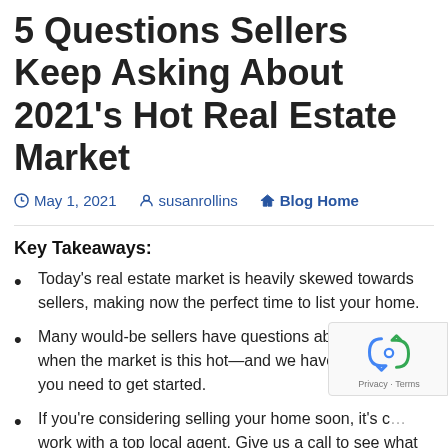5 Questions Sellers Keep Asking About 2021's Hot Real Estate Market
May 1, 2021   susanrollins   Blog Home
Key Takeaways:
Today's real estate market is heavily skewed towards sellers, making now the perfect time to list your home.
Many would-be sellers have questions about moving when the market is this hot—and we have the answers you need to get started.
If you're considering selling your home soon, it's c… work with a top local agent. Give us a call to see what we…